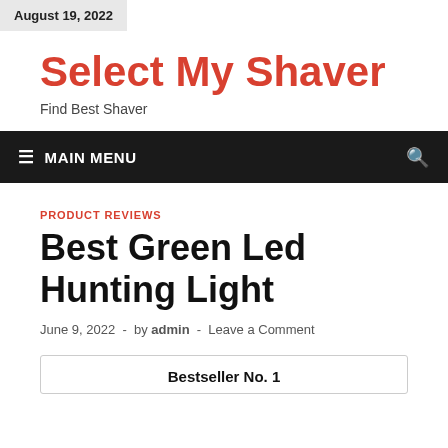August 19, 2022
Select My Shaver
Find Best Shaver
≡ MAIN MENU
PRODUCT REVIEWS
Best Green Led Hunting Light
June 9, 2022  -  by admin  -  Leave a Comment
Bestseller No. 1